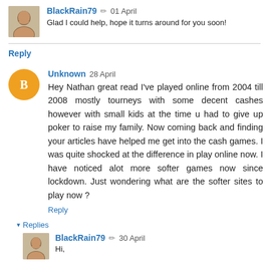[Figure (photo): Avatar photo of BlackRain79 commenter, small square portrait]
BlackRain79 🖊 01 April
Glad I could help, hope it turns around for you soon!
Reply
[Figure (logo): Orange circle avatar with white blogger B icon for Unknown commenter]
Unknown 28 April
Hey Nathan great read I've played online from 2004 till 2008 mostly tourneys with some decent cashes however with small kids at the time u had to give up poker to raise my family. Now coming back and finding your articles have helped me get into the cash games. I was quite shocked at the difference in play online now. I have noticed alot more softer games now since lockdown. Just wondering what are the softer sites to play now ?
Reply
▾ Replies
[Figure (photo): Avatar photo of BlackRain79 commenter, small square portrait]
BlackRain79 🖊 30 April
Hi,